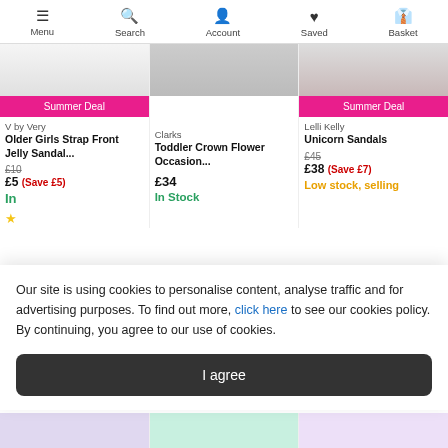Menu | Search | Account | Saved | Basket
[Figure (screenshot): Product image top strip - left product partial]
[Figure (screenshot): Product image top strip - middle product partial]
[Figure (screenshot): Product image top strip - right product partial]
Summer Deal
V by Very
Older Girls Strap Front Jelly Sandal...
£10
£5  (Save £5)
In
Clarks
Toddler Crown Flower Occasion...
£34
In Stock
Summer Deal
Lelli Kelly
Unicorn Sandals
£45
£38  (Save £7)
Low stock, selling
Our site is using cookies to personalise content, analyse traffic and for advertising purposes. To find out more, click here to see our cookies policy. By continuing, you agree to our use of cookies.
I agree